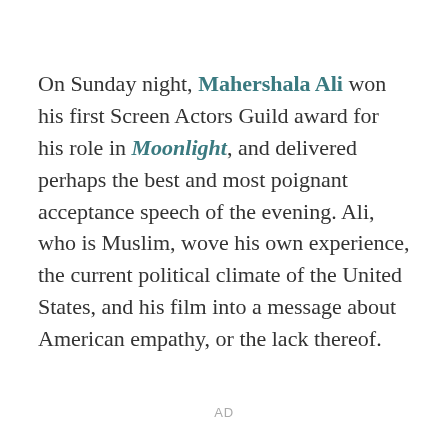On Sunday night, Mahershala Ali won his first Screen Actors Guild award for his role in Moonlight, and delivered perhaps the best and most poignant acceptance speech of the evening. Ali, who is Muslim, wove his own experience, the current political climate of the United States, and his film into a message about American empathy, or the lack thereof.
AD